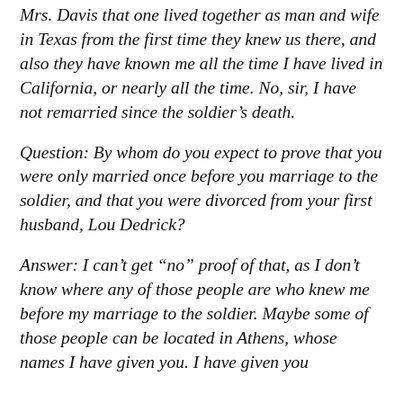Mrs. Davis that one lived together as man and wife in Texas from the first time they knew us there, and also they have known me all the time I have lived in California, or nearly all the time. No, sir, I have not remarried since the soldier's death.
Question: By whom do you expect to prove that you were only married once before you marriage to the soldier, and that you were divorced from your first husband, Lou Dedrick?
Answer: I can't get “no” proof of that, as I don't know where any of those people are who knew me before my marriage to the soldier. Maybe some of those people can be located in Athens, whose names I have given you. I have given you